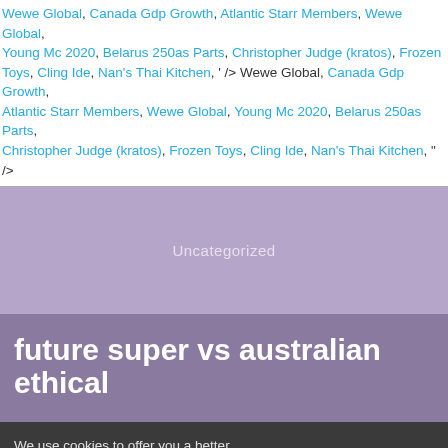Wewe Global, Canada Gdp Growth, Atlantic Starr Members, Wewe Global, Young Mc 2020, Belarus 250as Parts, Christopher Judge (kratos), Frozen Toys, Cling Ide, Nan's Thai Kitchen, ' /> Wewe Global, Canada Gdp Growth, Atlantic Starr Members, Wewe Global, Young Mc 2020, Belarus 250as Parts, Christopher Judge (kratos), Frozen Toys, Cling Ide, Nan's Thai Kitchen, " />
Uncategorized
future super vs australian ethical
We use cookies to offer you a better browsing experience, analyse site traffic and personalize content. Read about how we use cookies in our Privacy Policy
Accept and Close